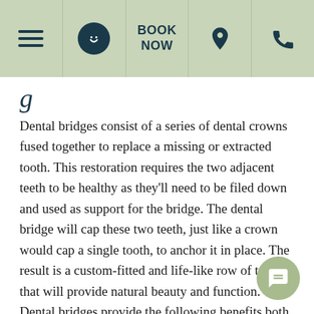Navigation bar with menu, smiley icon, BOOK NOW, location pin, and phone icons
g…
Dental bridges consist of a series of dental crowns fused together to replace a missing or extracted tooth. This restoration requires the two adjacent teeth to be healthy as they'll need to be filed down and used as support for the bridge. The dental bridge will cap these two teeth, just like a crown would cap a single tooth, to anchor it in place. The result is a custom-fitted and life-like row of teeth that will provide natural beauty and function. Dental bridges provide the following benefits both missing and existing teeth: